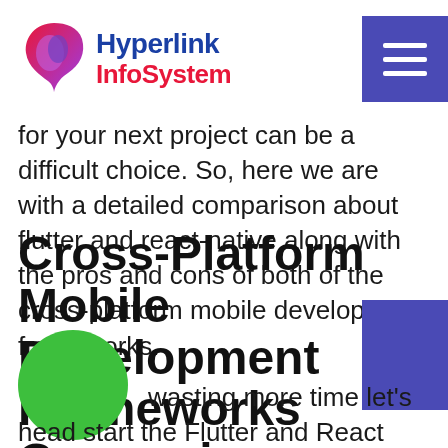Hyperlink InfoSystem
for your next project can be a difficult choice. So, here we are with a detailed comparison about flutter and react-native along with the pros and cons of both of the cross-platform mobile development frameworks.
Cross-Platform Mobile Development Frameworks Comparison
Without wasting more time let's head start the Flutter and React Native - cross-platform mobile development frameworks